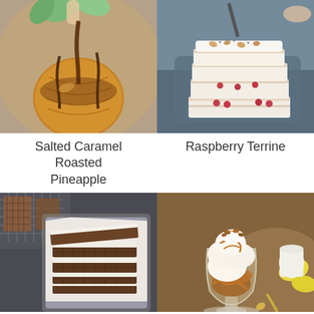[Figure (photo): A golden caramel-glazed bundt pineapple cake with chocolate/caramel sauce being poured over it from above, green leaves in background]
Salted Caramel Roasted Pineapple
[Figure (photo): Sliced raspberry terrine layered dessert with cream and raspberries on a blue-gray plate, spoon visible at top]
Raspberry Terrine
[Figure (photo): Chocolate waffle ice cream sandwiches stacked in a metal loaf pan with parchment paper, waffle cones scattered around]
[Figure (photo): Ice cream sundae in a glass goblet with caramel sauce, nuts, and whipped cream, yellow bananas and cream pitcher in background]